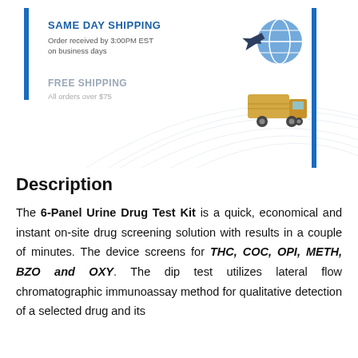[Figure (infographic): Shipping info banner with 'SAME DAY SHIPPING - Order received by 3:00PM EST on business days' with airplane/globe icon, and 'FREE SHIPPING - All orders over $75' with delivery truck icon, blue bracket decorative elements and wave background]
Description
The 6-Panel Urine Drug Test Kit is a quick, economical and instant on-site drug screening solution with results in a couple of minutes. The device screens for THC, COC, OPI, METH, BZO and OXY. The dip test utilizes lateral flow chromatographic immunoassay method for qualitative detection of a selected drug and its metabolites in urine.